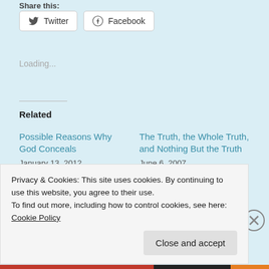Share this:
[Figure (screenshot): Twitter and Facebook share buttons with icons]
Loading...
Related
Possible Reasons Why God Conceals
January 13, 2012
With 9 comments
The Truth, the Whole Truth, and Nothing But the Truth
June 6, 2007
In "hermeneutics"
Is the Holy Spirit – or His
Privacy & Cookies: This site uses cookies. By continuing to use this website, you agree to their use.
To find out more, including how to control cookies, see here: Cookie Policy
Close and accept